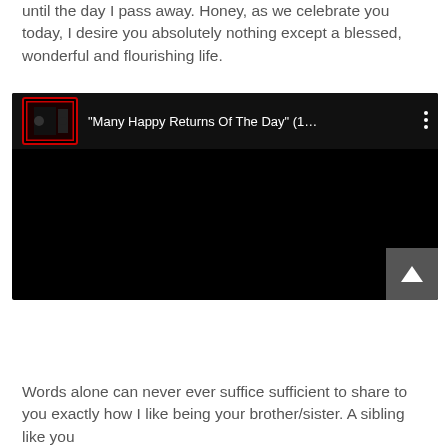until the day I pass away. Honey, as we celebrate you today, I desire you absolutely nothing except a blessed, wonderful and flourishing life.
[Figure (screenshot): Embedded YouTube video player with black background. Header shows a red-bordered thumbnail and title: "Many Happy Returns Of The Day" (1... with a three-dot menu icon. Bottom-right has a grey scroll-to-top button with upward arrow.]
Words alone can never ever suffice sufficient to share to you exactly how I like being your brother/sister. A sibling like you